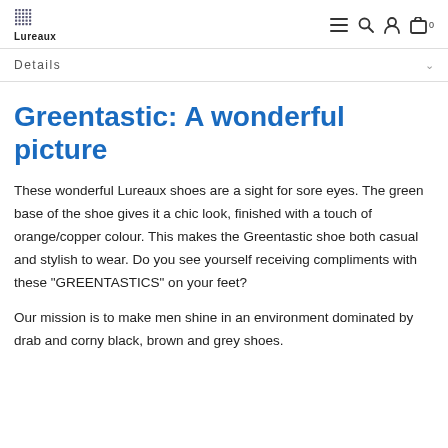Lureaux
Details
Greentastic: A wonderful picture
These wonderful Lureaux shoes are a sight for sore eyes. The green base of the shoe gives it a chic look, finished with a touch of orange/copper colour. This makes the Greentastic shoe both casual and stylish to wear. Do you see yourself receiving compliments with these "GREENTASTICS" on your feet?
Our mission is to make men shine in an environment dominated by drab and corny black, brown and grey shoes.